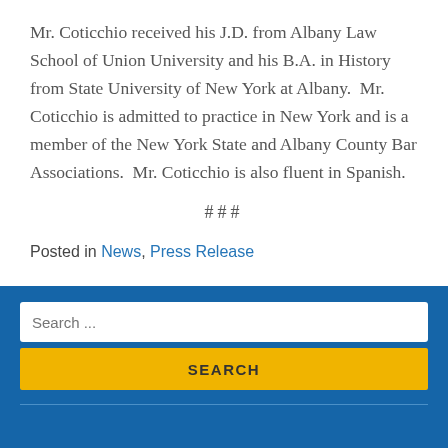Mr. Coticchio received his J.D. from Albany Law School of Union University and his B.A. in History from State University of New York at Albany.  Mr. Coticchio is admitted to practice in New York and is a member of the New York State and Albany County Bar Associations.  Mr. Coticchio is also fluent in Spanish.
###
Posted in News, Press Release
Search ...
SEARCH